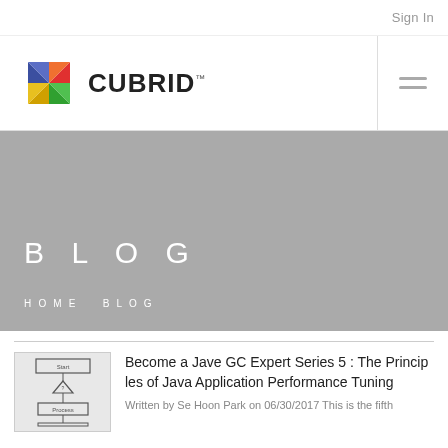Sign In
[Figure (logo): CUBRID logo with colorful pinwheel star icon and CUBRID wordmark]
B L O G
H O M E   B L O G
[Figure (screenshot): Flowchart thumbnail for blog post about Java GC]
Become a Jave GC Expert Series 5 : The Principles of Java Application Performance Tuning
Written by Se Hoon Park on 06/30/2017 This is the fifth